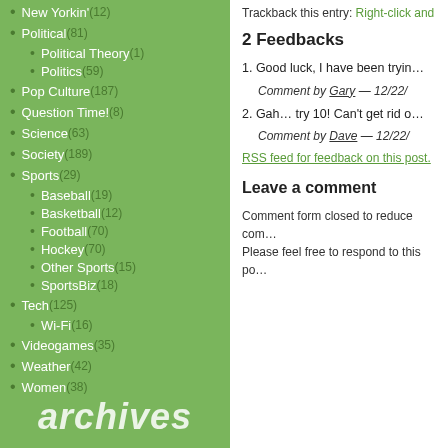New Yorkin' (12)
Political (81)
Political Theory (1)
Politics (59)
Pop Culture (187)
Question Time! (8)
Science (63)
Society (189)
Sports (29)
Baseball (19)
Basketball (12)
Football (70)
Hockey (70)
Other Sports (15)
SportsBiz (18)
Tech (125)
Wi-Fi (16)
Videogames (35)
Weather (42)
Women (38)
archives
Trackback this entry: Right-click and…
2 Feedbacks
1. Good luck, I have been tryin…
Comment by Gary — 12/22/…
2. Gah… try 10! Can't get rid o…
Comment by Dave — 12/22/…
RSS feed for feedback on this post.
Leave a comment
Comment form closed to reduce com… Please feel free to respond to this po…